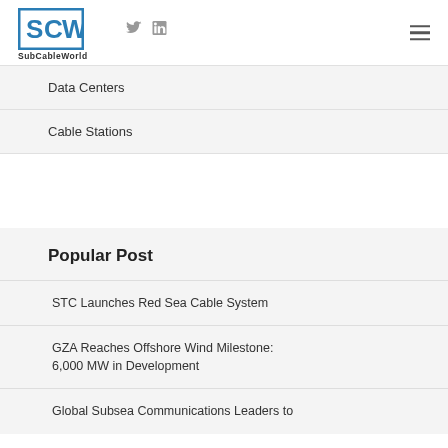SubCableWorld
Data Centers
Cable Stations
Popular Post
STC Launches Red Sea Cable System
GZA Reaches Offshore Wind Milestone: 6,000 MW in Development
Global Subsea Communications Leaders to